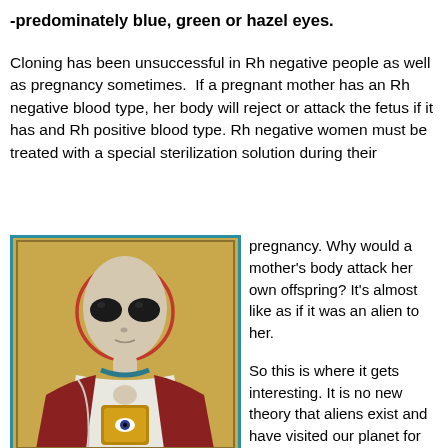-predominately blue, green or hazel eyes.
Cloning has been unsuccessful in Rh negative people as well as pregnancy sometimes.  If a pregnant mother has an Rh negative blood type, her body will reject or attack the fetus if it has and Rh positive blood type. Rh negative women must be treated with a special sterilization solution during their pregnancy. Why would a mother's body attack her own offspring? It’s almost like as if it was an alien to her.
[Figure (illustration): A painting in a religious icon style depicting an alien being dressed in robes, with a large gray head, large dark almond-shaped eyes, and a halo behind its head. The figure is dressed in red and white garments and holds a book or tablet with an eye symbol. The painting has a gold background and is framed with a teal border.]
So this is where it gets interesting. It is no new theory that aliens exist and have visited our planet for centuries